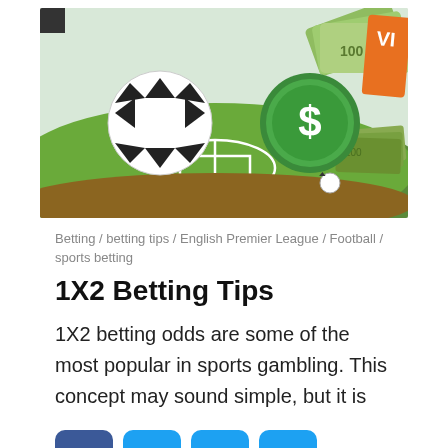[Figure (illustration): Sports betting illustration showing a football/soccer field with a soccer ball, a green dollar coin, Euro banknotes, and betting tickets on a light background.]
Betting / betting tips / English Premier League / Football / sports betting
1X2 Betting Tips
1X2 betting odds are some of the most popular in sports gambling. This concept may sound simple, but it is
[Figure (infographic): Social sharing buttons: Facebook, Twitter, Email, and More/Plus icons in blue rounded squares.]